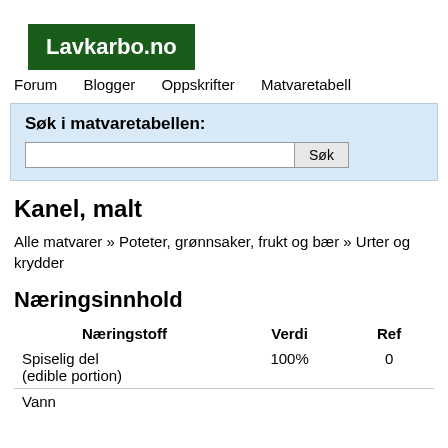[Figure (logo): Lavkarbo.no logo — white text on dark green background]
Forum   Blogger   Oppskrifter   Matvaretabell
Søk i matvaretabellen:
Kanel, malt
Alle matvarer » Poteter, grønnsaker, frukt og bær » Urter og krydder
Næringsinnhold
| Næringstoff | Verdi | Ref |
| --- | --- | --- |
| Spiselig del (edible portion) | 100% | 0 |
| Vann |  |  |